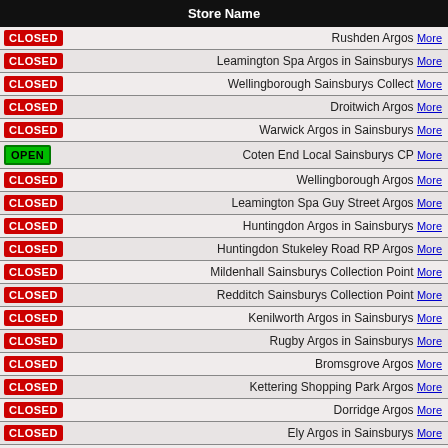| Store Name |
| --- |
| CLOSED | Rushden Argos More |
| CLOSED | Leamington Spa Argos in Sainsburys More |
| CLOSED | Wellingborough Sainsburys Collect More |
| CLOSED | Droitwich Argos More |
| CLOSED | Warwick Argos in Sainsburys More |
| OPEN | Coten End Local Sainsburys CP More |
| CLOSED | Wellingborough Argos More |
| CLOSED | Leamington Spa Guy Street Argos More |
| CLOSED | Huntingdon Argos in Sainsburys More |
| CLOSED | Huntingdon Stukeley Road RP Argos More |
| CLOSED | Mildenhall Sainsburys Collection Point More |
| CLOSED | Redditch Sainsburys Collection Point More |
| CLOSED | Kenilworth Argos in Sainsburys More |
| CLOSED | Rugby Argos in Sainsburys More |
| CLOSED | Bromsgrove Argos More |
| CLOSED | Kettering Shopping Park Argos More |
| CLOSED | Dorridge Argos More |
| CLOSED | Ely Argos in Sainsburys More |
| CLOSED | Kettering Newland Street Argos Closing More |
| CLOSED | Thetford Argos in Sainsburys More |
| CLOSED | Canley Argos in Sainsburys More |
| CLOSED | ... |